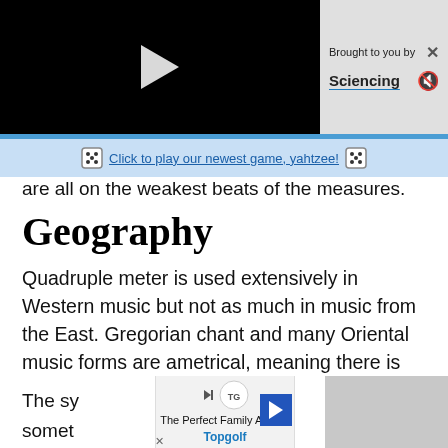[Figure (screenshot): Video player with play button on black background, with 'Brought to you by Sciencing' panel on right with X and mute icons]
Click to play our newest game, yahtzee!
are all on the weakest beats of the measures.
Geography
Quadruple meter is used extensively in Western music but not as much in music from the East. Gregorian chant and many Oriental music forms are ametrical, meaning there is not an established metrical beat.
Misconceptions
The sy
[Figure (screenshot): Advertisement banner for Topgolf: 'The Perfect Family Activity - Topgolf' with navigation arrow]
C is
somet
Many